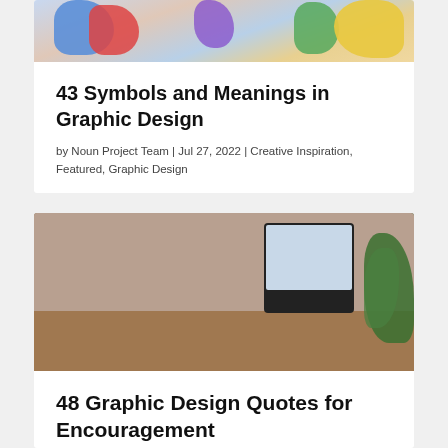[Figure (photo): Colorful artwork or illustration partially visible at the top of card one]
43 Symbols and Meanings in Graphic Design
by Noun Project Team | Jul 27, 2022 | Creative Inspiration, Featured, Graphic Design
[Figure (photo): A person (woman with long dark hair) working at a drawing tablet/monitor at a desk with plants in the background]
48 Graphic Design Quotes for Encouragement